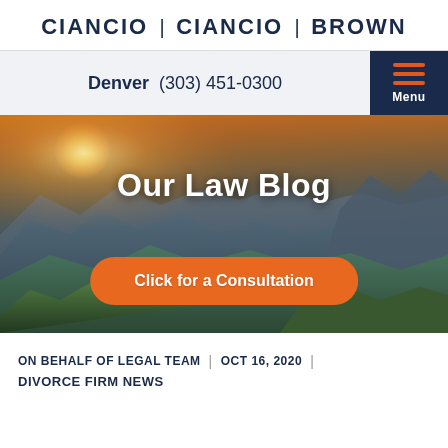CIANCIO | CIANCIO | BROWN
Denver  (303) 451-0300
[Figure (photo): Mountain landscape at sunset with sun rays breaking over ridge, layers of mountains receding into hazy blue distance, forested foreground]
Our Law Blog
Click for a Consultation
ON BEHALF OF LEGAL TEAM  |  OCT 16, 2020  |  DIVORCE FIRM NEWS